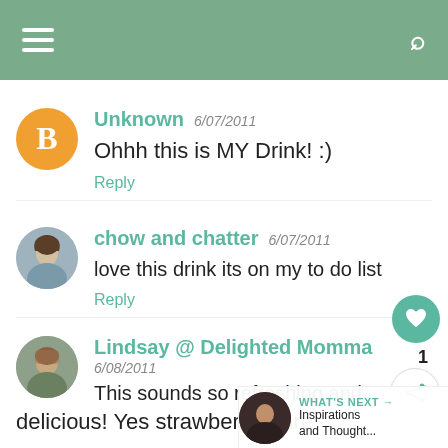[Figure (screenshot): Mobile app header bar with hamburger menu icon and search icon on green background]
Unknown 6/07/2011
Ohhh this is MY Drink! :)
Reply
chow and chatter 6/07/2011
love this drink its on my to do list
Reply
Lindsay @ Delighted Momma 6/08/2011
This sounds so refreshing and delicious! Yes strawberries are